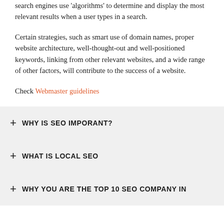search engines use 'algorithms' to determine and display the most relevant results when a user types in a search.
Certain strategies, such as smart use of domain names, proper website architecture, well-thought-out and well-positioned keywords, linking from other relevant websites, and a wide range of other factors, will contribute to the success of a website.
Check Webmaster guidelines
+ WHY IS SEO IMPORANT?
+ WHAT IS LOCAL SEO
+ WHY YOU ARE THE TOP 10 SEO COMPANY IN